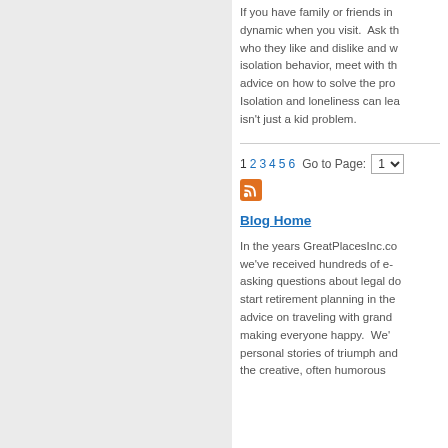If you have family or friends in dynamic when you visit.  Ask th who they like and dislike and w isolation behavior, meet with th advice on how to solve the pro Isolation and loneliness can lea isn't just a kid problem.
1 2 3 4 5 6  Go to Page: 1
Blog Home
In the years GreatPlacesInc.co we've received hundreds of e- asking questions about legal do start retirement planning in the advice on traveling with grand making everyone happy.  We' personal stories of triumph and the creative, often humorous